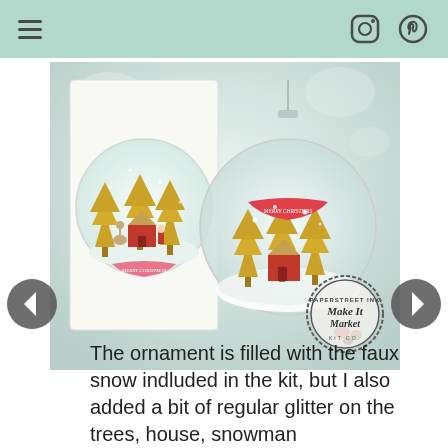navigation bar with hamburger menu, Instagram and Pinterest icons
[Figure (photo): Photo showing a handmade Christmas snow globe card on the left and a clear plastic ornament filled with faux snow on the right. Both feature gold glitter pine trees, a red house, a reindeer, and a pink 'Merry Christmas' banner. A 'Paperstreet Ink Make It Market' stamp logo appears in the bottom right of the photo.]
The ornament is filled with the faux snow indluded in the kit, but I also added a bit of regular glitter on the trees, house, snowman